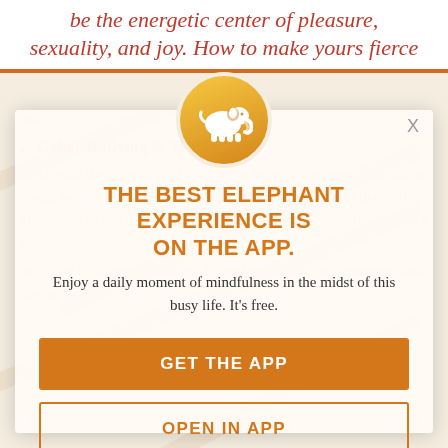be the energetic center of pleasure, sexuality, and joy. How to make yours fierce
[Figure (illustration): Elephant Journal app logo: white elephant silhouette on orange/gold circle]
THE BEST ELEPHANT EXPERIENCE IS ON THE APP.
Enjoy a daily moment of mindfulness in the midst of this busy life. It’s free.
GET THE APP
OPEN IN APP